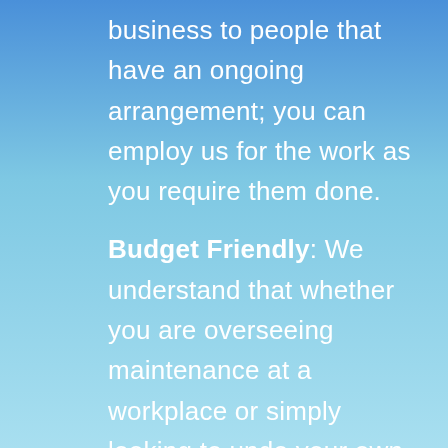business to people that have an ongoing arrangement; you can employ us for the work as you require them done.
Budget Friendly: We understand that whether you are overseeing maintenance at a workplace or simply looking to undo your own residence from pests, you have many other costs to concern about. Instead of having you to strain your resources to fulfill our costs, we make certain to render the finest integrated pest control solutions